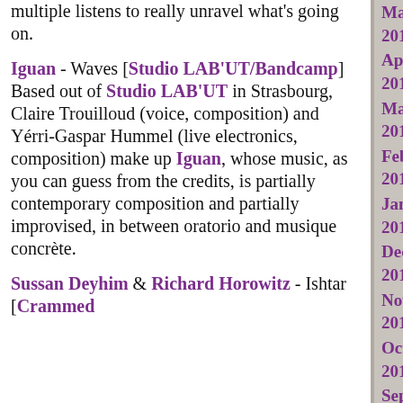multiple listens to really unravel what's going on.
Iguan - Waves [Studio LAB'UT/Bandcamp] Based out of Studio LAB'UT in Strasbourg, Claire Trouilloud (voice, composition) and Yérri-Gaspar Hummel (live electronics, composition) make up Iguan, whose music, as you can guess from the credits, is partially contemporary composition and partially improvised, in between oratorio and musique concrète.
Sussan Deyhim & Richard Horowitz - Ishtar [Crammed
May 2018
April 2018
March 2018
February 2018
January 2018
December 2017
November 2017
October 2017
September 2017
August 2017
July 2017
June 2017
May 2017
April 2017
March 2017
February 2017
January 2017
December 2016
November 2016
October 2016
September 2016
August 2016
July 2016
June 2016
May 2016
April 2016
March 2016
February 2016
January 2016